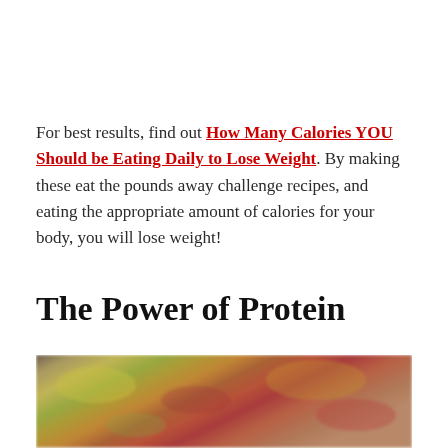For best results, find out How Many Calories YOU Should be Eating Daily to Lose Weight. By making these eat the pounds away challenge recipes, and eating the appropriate amount of calories for your body, you will lose weight!
The Power of Protein
[Figure (photo): A close-up photo of food items, appearing to show layers of colorful ingredients including what looks like a layered dish with yellow, green, and red-orange components on top, and a light-colored creamy layer below.]